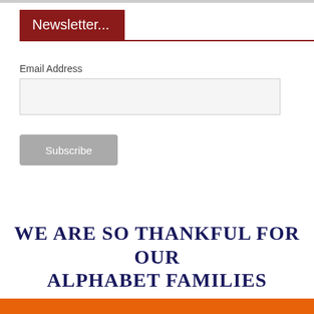Newsletter...
Email Address
[Figure (screenshot): Email input field (empty text box) and Subscribe button]
WE ARE SO THANKFUL FOR OUR ALPHABET FAMILIES